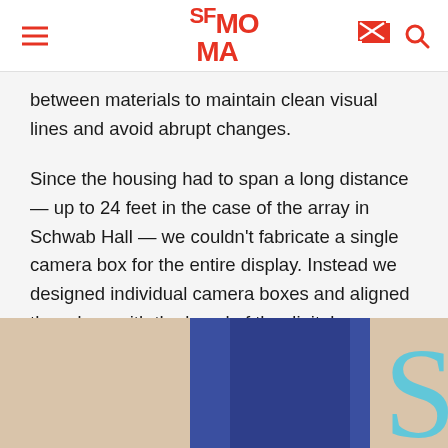SFMOMA
between materials to maintain clean visual lines and avoid abrupt changes.
Since the housing had to span a long distance — up to 24 feet in the case of the array in Schwab Hall — we couldn't fabricate a single camera box for the entire display. Instead we designed individual camera boxes and aligned the edges with the bezel of the digital screens above, maintaining the pattern already established in the assembly.
[Figure (photo): Partial view of a photo showing beige/tan background with a vertical blue rectangular element, and a large light blue letter S partially visible at the right edge]